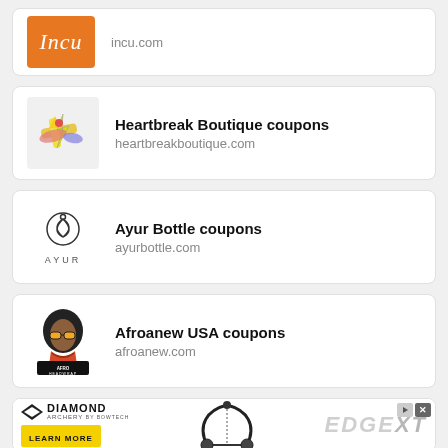[Figure (logo): Incu brand logo on orange background with incu.com URL]
[Figure (logo): Heartbreak Boutique coupons logo with stylized bird/lightning graphic, heartbreakboutique.com]
[Figure (logo): Ayur Bottle coupons with AYUR text logo, ayurbottle.com]
[Figure (logo): Afroanew USA coupons with Afro Headwrap logo, afroanew.com]
[Figure (illustration): Diamond Archery advertisement banner featuring EDGE XT bow]